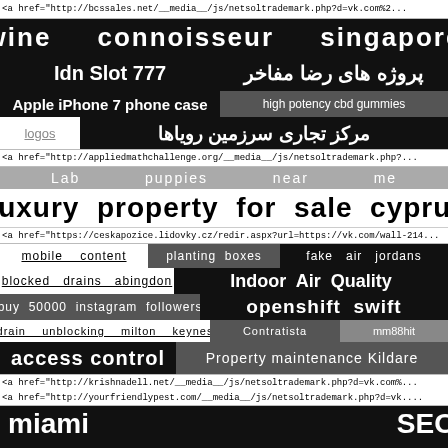<a href="http://bcssales.net/__media__/js/netsoltrademark.php?d=vk.com%2...
wine connoisseur singapore
Idn Slot 777
پروژه های رضا مفاخر
Apple iPhone 7 phone case
high potency cbd gummies
logos
مرکز تجاری سرزمین رویاها
<a href="http://appliedmathchallenge.org/__media__/js/netsoltrademark.php?...
Lab puppies near me
Luxury property for sale cyprus
<a href="https://ceskapozice.lidovky.cz/redir.aspx?url=https://vk.com/wall-214...
mobile content
planting boxes
fake air jordans
blocked drains abingdon
Indoor Air Quality
buy 50000 instagram followers
openshift swift
drain unblocking milton keynes
Contratista
mm88hit
access control
Property maintenance Kildare
<a href="http://krishnadell.net/__media__/js/netsoltrademark.php?d=vk.com%...
<a href="http://yourfriendlypest.com/__media__/js/netsoltrademark.php?d=vk....
miami SEO
http://bayanescortistanbultr.com/bayanlar/esenyurt-e...
<a href="https://vk.com/igor.makarov73?w=wall537179695_14522">"https://vk...
hindi ringtones
हिंदी गाने
<a href="https://metplus-vrn.ru/bitrix/redirect.php?goto=https://twitter.com/Pa...